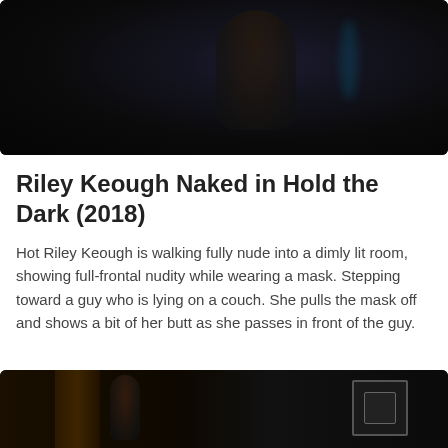[Figure (photo): Dark, dimly lit scene with a figure partially visible against a very dark background with a faint blue-tinted glow on the right side.]
Riley Keough Naked in Hold the Dark (2018)
Hot Riley Keough is walking fully nude into a dimly lit room, showing full-frontal nudity while wearing a mask. Stepping toward a guy who is lying on a couch. She pulls the mask off and shows a bit of her butt as she passes in front of the guy.
[Figure (photo): Dark interior scene showing a figure near a doorway with warm amber lighting on the left and a framed object on the wall at right.]